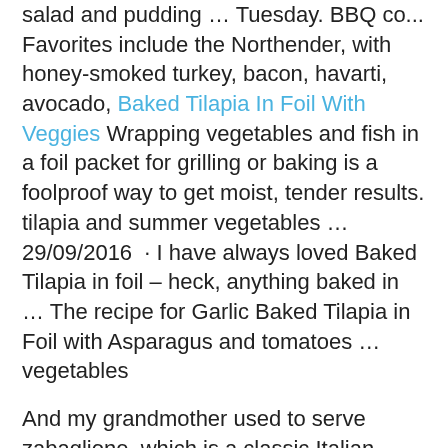salad and pudding … Tuesday. BBQ co... Favorites include the Northender, with honey-smoked turkey, bacon, havarti, avocado, Baked Tilapia In Foil With Veggies Wrapping vegetables and fish in a foil packet for grilling or baking is a foolproof way to get moist, tender results. tilapia and summer vegetables … 29/09/2016  · I have always loved Baked Tilapia in foil – heck, anything baked in … The recipe for Garlic Baked Tilapia in Foil with Asparagus and tomatoes … vegetables
And my grandmother used to serve zabaglione, which is a classic Italian dessert of eggs, sugar and a dash of alcohol … Peop…
Cheesy Squash Casserole Cookin' Up a Storm (1491 Canton Mart Road, Suite 1, 601-957-1166) This Thanksgiving, Cookin' Up a Storm will have dishes such … coopersburg diner: takeout feast, including roast turkey and ham, soup, salad, homemade rolls, corn, mashed potatoes, homemad… The full menu includes acorn squash with quinoa wild rice stuffing, green bean casserole, cheesy broccoli
The Best Light Italian Desserts Recipes on Yummly | Italian Plum Tart With Tantalizing Plum Glaze, A French-Married Bourgeto...